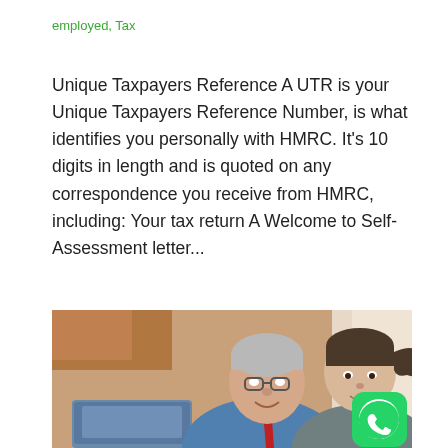employed, Tax
Unique Taxpayers Reference A UTR is your Unique Taxpayers Reference Number, is what identifies you personally with HMRC. It's 10 digits in length and is quoted on any correspondence you receive from HMRC, including: Your tax return A Welcome to Self-Assessment letter...
[Figure (photo): Photo of an older man in a blue shirt and red tie sitting next to a young woman with a ponytail in a grey top, both looking at a laptop screen, smiling. A WhatsApp button icon is visible in the bottom right corner of the image.]